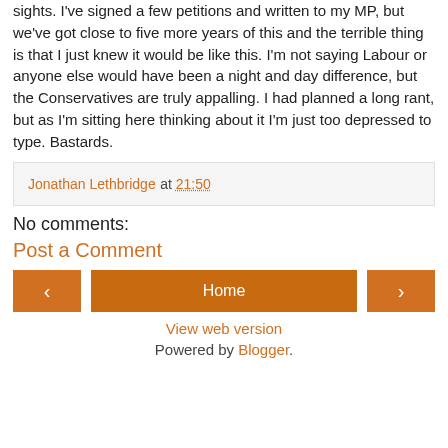sights. I've signed a few petitions and written to my MP, but we've got close to five more years of this and the terrible thing is that I just knew it would be like this. I'm not saying Labour or anyone else would have been a night and day difference, but the Conservatives are truly appalling. I had planned a long rant, but as I'm sitting here thinking about it I'm just too depressed to type. Bastards.
Jonathan Lethbridge at 21:50
No comments:
Post a Comment
‹
Home
›
View web version
Powered by Blogger.